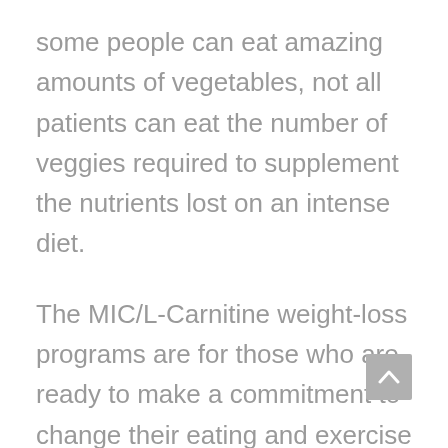some people can eat amazing amounts of vegetables, not all patients can eat the number of veggies required to supplement the nutrients lost on an intense diet.
The MIC/L-Carnitine weight-loss programs are for those who are ready to make a commitment to change their eating and exercise habits. The programs work for both men and women. Schedule a consultation with us at Regenerate Medical Concierge to find out if you would potentially have success with our 30 or 60-day MIC/L-Carnitine weight-loss program. Our doctors generally work with candidates who